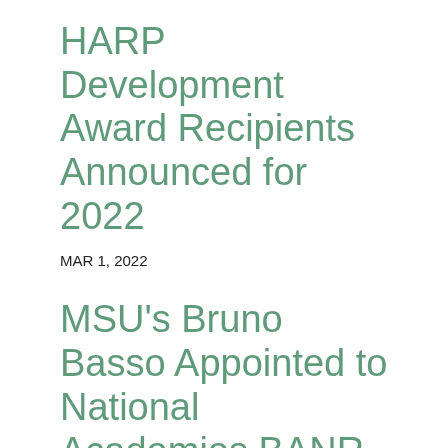HARP Development Award Recipients Announced for 2022
MAR 1, 2022
MSU's Bruno Basso Appointed to National Academies BANR
FEB 28, 2022
Michigan State University ecosystems scientist Bruno Basso has been appointed a member of the Board on Agriculture and Natural Resources